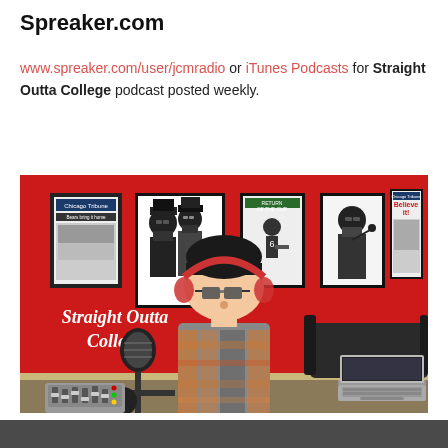Spreaker.com
www.spreaker.com/user/jcmradio or iTunes Podcasts for Straight Outta College podcast posted weekly.
[Figure (illustration): Illustrated podcast artwork for 'Straight Outta College' showing a cartoon character wearing glasses and a plaid shirt sitting at a podcast desk with a microphone, headphones, audio mixer and laptop, with framed posters on a red wall behind them including Chicago Tribune front pages and hip-hop artwork. The text 'Straight Outta College' appears in cursive on the left side.]